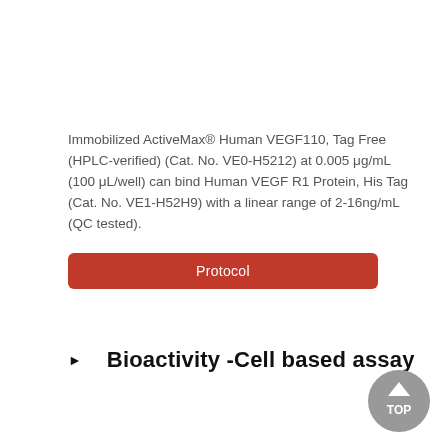Immobilized ActiveMax® Human VEGF110, Tag Free (HPLC-verified) (Cat. No. VE0-H5212) at 0.005 μg/mL (100 μL/well) can bind Human VEGF R1 Protein, His Tag (Cat. No. VE1-H52H9) with a linear range of 2-16ng/mL (QC tested).
Protocol
Bioactivity -Cell based assay